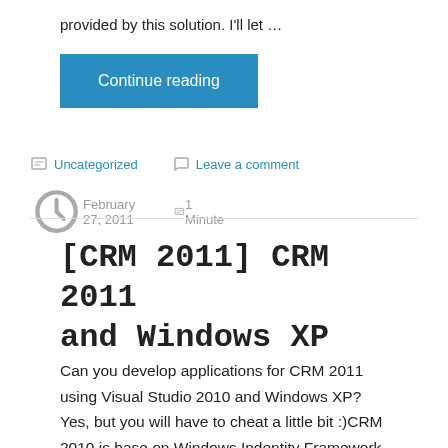provided by this solution. I'll let …
Continue reading
Uncategorized   Leave a comment
February 27, 2011   1 Minute
[CRM 2011] CRM 2011 and Windows XP
Can you develop applications for CRM 2011 using Visual Studio 2010 and Windows XP? Yes, but you will have to cheat a little bit :)CRM 2010 is base on Windows Indentity Framework (WIF), which is not